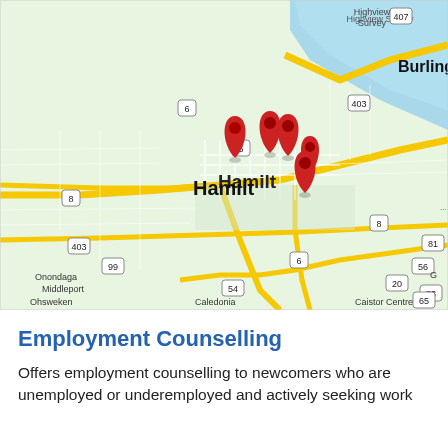[Figure (map): Google Maps screenshot showing Hamilton, Ontario area with red location pin markers clustered near downtown Hamilton. Visible labels include Burlington to the north, Onondaga, Middleport, Ohsweken, Caledonia, and Caistor Centre. Highway numbers visible: 403, 407, 8, 5, 6, 99, 56, 54, 65, 73, 20, 81.]
Employment Counselling
Offers employment counselling to newcomers who are unemployed or underemployed and actively seeking work